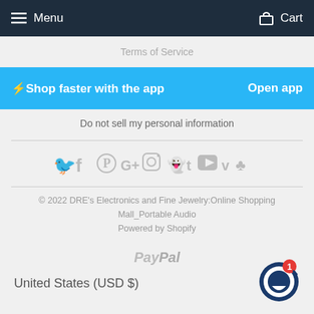Menu  Cart
Terms of Service
⚡Shop faster with the app   Open app
Do not sell my personal information
[Figure (other): Social media icons: Twitter, Facebook, Pinterest, Google+, Instagram, Snapchat, Tumblr, YouTube, Vimeo, unknown]
© 2022 DRE's Electronics and Fine Jewelry:Online Shopping Mall_Portable Audio
Powered by Shopify
[Figure (logo): PayPal logo in grey italic text]
United States (USD $)
[Figure (other): Chat widget circle with badge showing 1 notification]